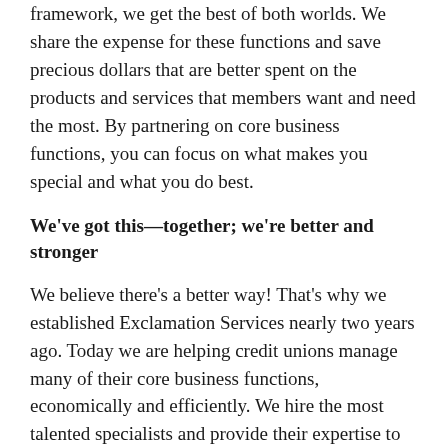framework, we get the best of both worlds. We share the expense for these functions and save precious dollars that are better spent on the products and services that members want and need the most. By partnering on core business functions, you can focus on what makes you special and what you do best.
We've got this—together; we're better and stronger
We believe there's a better way! That's why we established Exclamation Services nearly two years ago. Today we are helping credit unions manage many of their core business functions, economically and efficiently. We hire the most talented specialists and provide their expertise to credit unions like yours at a fraction of the cost that you'd spend to keep them on your own payroll. That's the spirit of the cooperative model. We're a CUSO—Credit Union Service Organization—explicitly designed by a credit union to serve credit unions. We offer the core services you need in the areas of IT, Marketing, HR, and Operations. Working together, we can be stronger, smarter, and more